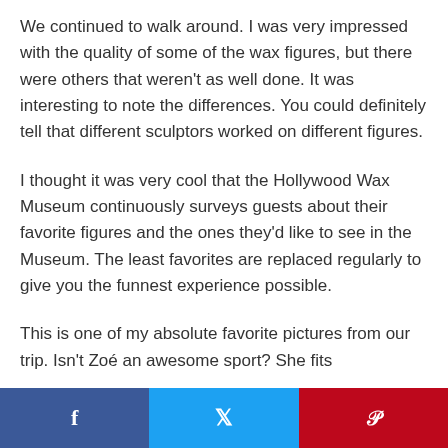We continued to walk around. I was very impressed with the quality of some of the wax figures, but there were others that weren't as well done. It was interesting to note the differences. You could definitely tell that different sculptors worked on different figures.
I thought it was very cool that the Hollywood Wax Museum continuously surveys guests about their favorite figures and the ones they'd like to see in the Museum. The least favorites are replaced regularly to give you the funnest experience possible.
This is one of my absolute favorite pictures from our trip. Isn't Zoé an awesome sport? She fits
[Figure (infographic): Social sharing bar at the bottom with Facebook (blue), Twitter (light blue), and Pinterest (red) buttons]